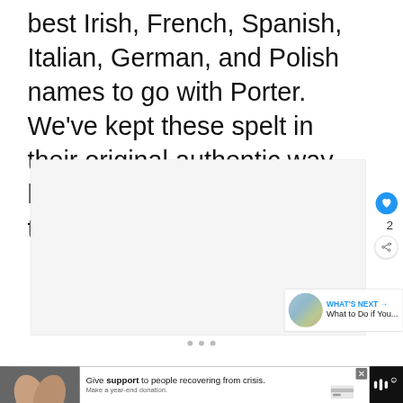best Irish, French, Spanish, Italian, German, and Polish names to go with Porter.  We've kept these spelt in their original authentic way, but you can always update the spelling if you prefer.
[Figure (photo): Large white/light image box area below the text paragraph]
[Figure (other): UI overlay: heart/like button (blue circle), count '2', share button (circle with share icon), 'WHAT'S NEXT' panel with thumbnail image and text 'What to Do if You...', three navigation dots]
[Figure (other): Bottom advertisement bar: dark background, hands holding photo on left, white ad area with text 'Give support to people recovering from crisis. Make a year-end donation.' with close X button and payment icons, and a music app logo on the right]